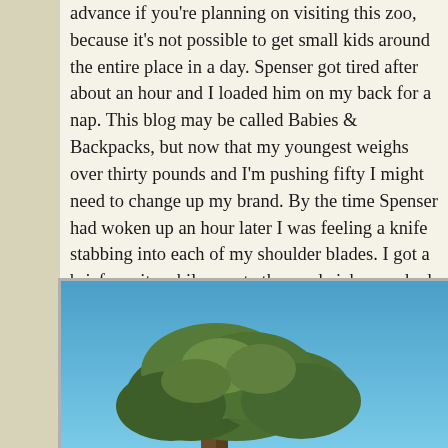advance if you're planning on visiting this zoo, because it's not possible to get small kids around the entire place in a day. Spenser got tired after about an hour and I loaded him on my back for a nap. This blog may be called Babies & Backpacks, but now that my youngest weighs over thirty pounds and I'm pushing fifty I might need to change up my brand. By the time Spenser had woken up an hour later I was feeling a knife stabbing into each of my shoulder blades. I got a brief respite while we ate the sandwiches we had brought with us, and then it was time to load up Ian. The kids enjoyed some of the exhibits, but they're not really zoo lovers and at the end I was wishing we had chosen SeaWorld instead.
[Figure (photo): Outdoor photo showing a large tree with green foliage against a bright blue sky]